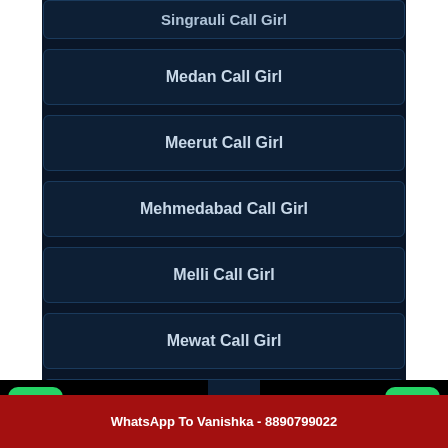Singrauli Call Girl
Medan Call Girl
Meerut Call Girl
Mehmedabad Call Girl
Melli Call Girl
Mewat Call Girl
Mexico Call Girl
Miami Call Girl
Whatsapp click to chat
Call us Now.
Call Vanishka Now - 8890799022
WhatsApp To Vanishka - 8890799022